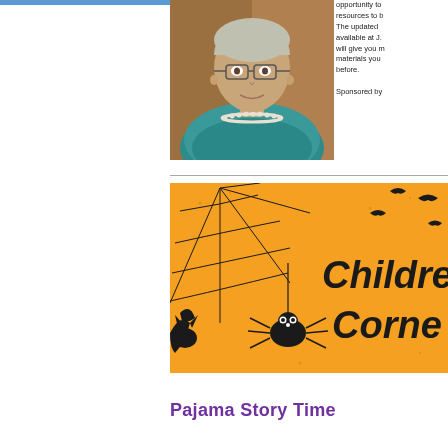[Figure (photo): Portrait photo of a woman with glasses wearing a teal patterned top and pearl necklace, standing in front of a wooden door]
opportunity to resources to b The updated available at J. will give you m materials you before.

Sponsored by
[Figure (illustration): Orange Halloween-themed banner with black spider web, spider, bats and text reading 'Children's Corner' in bold black italic font]
Pajama Story Time